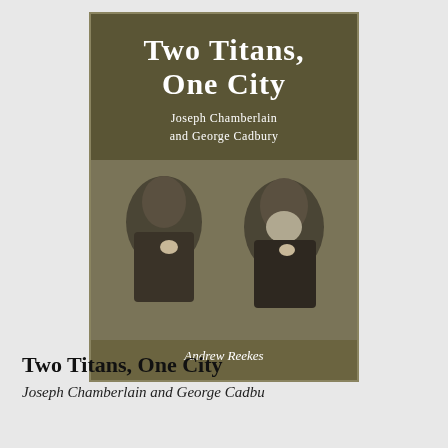[Figure (illustration): Book cover of 'Two Titans, One City: Joseph Chamberlain and George Cadbury' by Andrew Reekes. Dark olive/brown background with white serif title text at top and two black-and-white portrait photographs of the two men below.]
Two Titans, One City
Joseph Chamberlain and George Cadbury